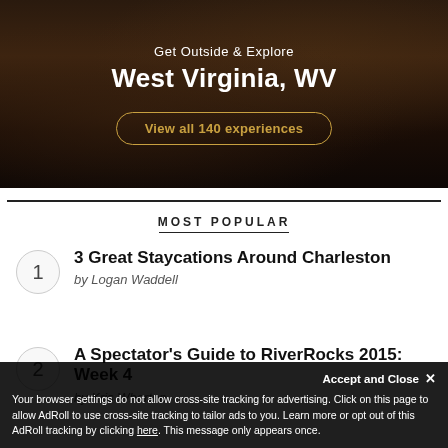[Figure (photo): Dark moody outdoor nature background with text overlay for West Virginia travel promotion]
Get Outside & Explore
West Virginia, WV
View all 140 experiences
MOST POPULAR
1 — 3 Great Staycations Around Charleston by Logan Waddell
2 — A Spectator's Guide to RiverRocks 2015: Week 4 by Kris Whorton
Accept and Close ✕
Your browser settings do not allow cross-site tracking for advertising. Click on this page to allow AdRoll to use cross-site tracking to tailor ads to you. Learn more or opt out of this AdRoll tracking by clicking here. This message only appears once.